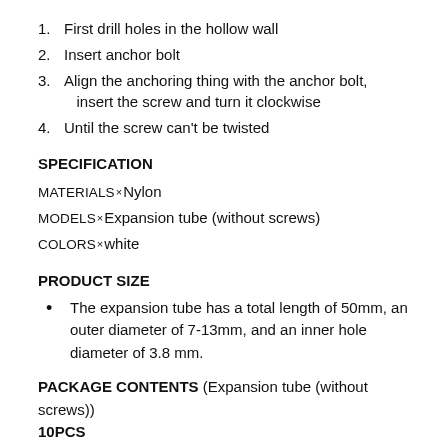1. First drill holes in the hollow wall
2. Insert anchor bolt
3. Align the anchoring thing with the anchor bolt, insert the screw and turn it clockwise
4. Until the screw can't be twisted
SPECIFICATION
MATERIALS Nylon
MODELS Expansion tube (without screws)
COLORS white
PRODUCT SIZE
The expansion tube has a total length of 50mm, an outer diameter of 7-13mm, and an inner hole diameter of 3.8 mm.
PACKAGE CONTENTS (Expansion tube (without screws)) 10PCS